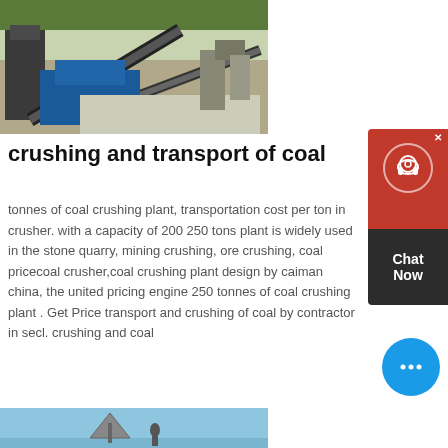[Figure (photo): Aerial/overhead view of a coal crushing plant with conveyor belts and industrial equipment at a quarry site]
crushing and transport of coal
tonnes of coal crushing plant, transportation cost per ton in crusher. with a capacity of 200 250 tons plant is widely used in the stone quarry, mining crushing, ore crushing, coal pricecoal crusher,coal crushing plant design by caiman china, the united pricing engine 250 tonnes of coal crushing plant . Get Price transport and crushing of coal by contractor in secl. crushing and coal
get price
[Figure (photo): Bottom image showing industrial/transport equipment against a blue sky]